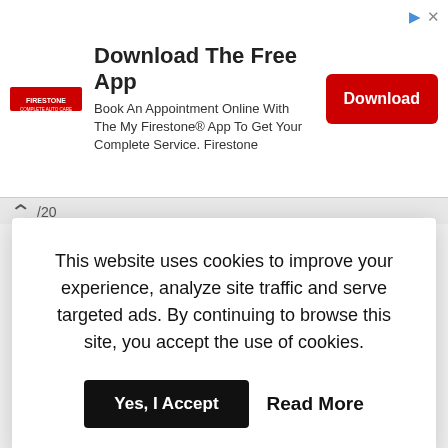[Figure (screenshot): Firestone advertisement banner: Download The Free App. Book An Appointment Online With The My Firestone® App To Get Your Complete Service. Firestone. With a red Download button.]
Costco September 2020 Coupon Book 09/02/20
This website uses cookies to improve your experience, analyze site traffic and serve targeted ads. By continuing to browse this site, you accept the use of cookies.
Yes, I Accept   Read More
Appliances
Auto
Books & Movies
Clothing & Accessories
Costco.com